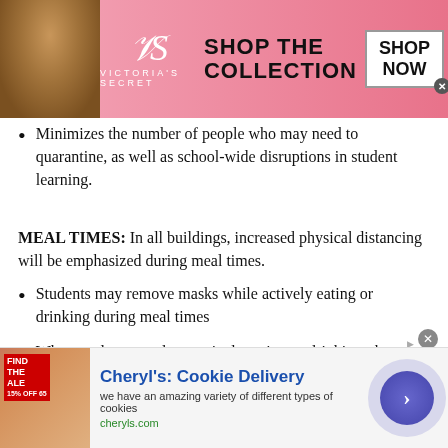[Figure (illustration): Victoria's Secret advertisement banner with model, VS logo, 'SHOP THE COLLECTION' text, and 'SHOP NOW' button]
Minimizes the number of people who may need to quarantine, as well as school-wide disruptions in student learning.
MEAL TIMES:  In all buildings, increased physical distancing will be emphasized during meal times.
Students may remove masks while actively eating or drinking during meal times
When students are done actively eating or drinking, they must put their mask back on if they are sitting at a table and socializing with others.
[Figure (illustration): Cheryl's Cookie Delivery advertisement with cookie image, title, description text, and arrow button]